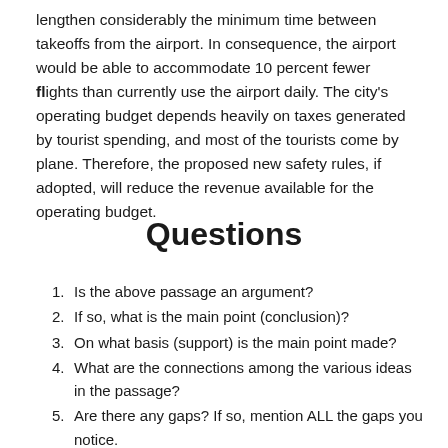lengthen considerably the minimum time between takeoffs from the airport. In consequence, the airport would be able to accommodate 10 percent fewer flights than currently use the airport daily. The city's operating budget depends heavily on taxes generated by tourist spending, and most of the tourists come by plane. Therefore, the proposed new safety rules, if adopted, will reduce the revenue available for the operating budget.
Questions
Is the above passage an argument?
If so, what is the main point (conclusion)?
On what basis (support) is the main point made?
What are the connections among the various ideas in the passage?
Are there any gaps? If so, mention ALL the gaps you notice.